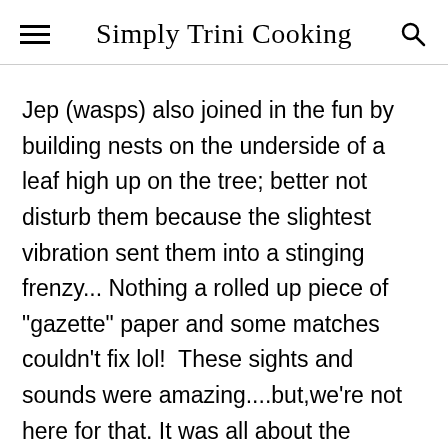Simply Trini Cooking
Jep (wasps) also joined in the fun by building nests on the underside of a leaf high up on the tree; better not disturb them because the slightest vibration sent them into a stinging frenzy... Nothing a rolled up piece of "gazette" paper and some matches couldn't fix lol!  These sights and sounds were amazing....but,we're not here for that. It was all about the